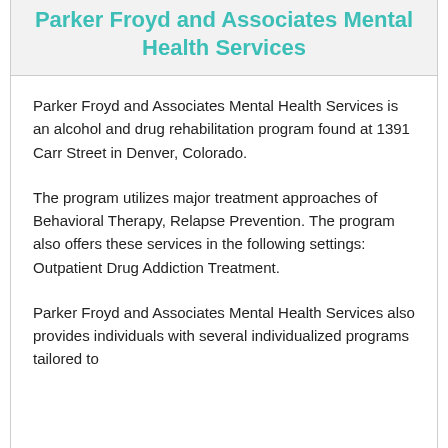Parker Froyd and Associates Mental Health Services
Parker Froyd and Associates Mental Health Services is an alcohol and drug rehabilitation program found at 1391 Carr Street in Denver, Colorado.
The program utilizes major treatment approaches of Behavioral Therapy, Relapse Prevention. The program also offers these services in the following settings: Outpatient Drug Addiction Treatment.
Parker Froyd and Associates Mental Health Services also provides individuals with several individualized programs tailored to